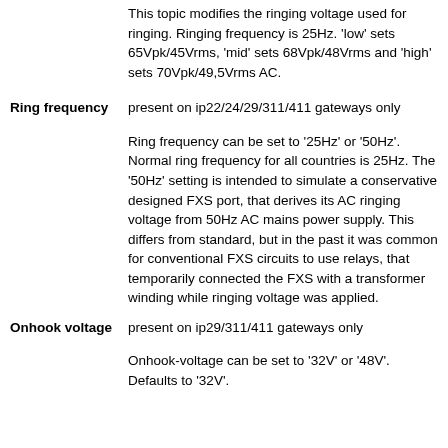This topic modifies the ringing voltage used for ringing. Ringing frequency is 25Hz. 'low' sets 65Vpk/45Vrms, 'mid' sets 68Vpk/48Vrms and 'high' sets 70Vpk/49,5Vrms AC.
Ring frequency
present on ip22/24/29/311/411 gateways only
Ring frequency can be set to '25Hz' or '50Hz'. Normal ring frequency for all countries is 25Hz. The '50Hz' setting is intended to simulate a conservative designed FXS port, that derives its AC ringing voltage from 50Hz AC mains power supply. This differs from standard, but in the past it was common for conventional FXS circuits to use relays, that temporarily connected the FXS with a transformer winding while ringing voltage was applied.
Onhook voltage
present on ip29/311/411 gateways only
Onhook-voltage can be set to '32V' or '48V'. Defaults to '32V'.